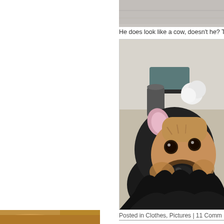[Figure (photo): Partial cropped photo of a gray/white background scene at the top]
He does look like a cow, doesn't he? T
[Figure (photo): A dog wearing a black sheep/cow costume with a pink ear and white pom-pom on top, sitting on a beige carpet with a dark chair visible in background]
Posted in Clothes, Pictures | 11 Comm
[Figure (photo): Partial view of a dog at the very bottom left corner of the page]